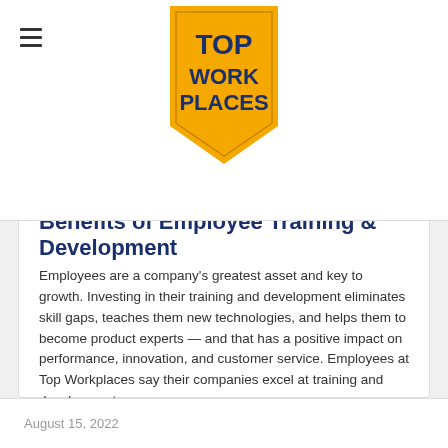[Figure (logo): Top Work Places gold badge/seal with pentagon bookmark shape, gold background, dark navy text reading TOP WORK PLACES]
Benefits of Employee Training & Development
Employees are a company’s greatest asset and key to growth. Investing in their training and development eliminates skill gaps, teaches them new technologies, and helps them to become product experts — and that has a positive impact on performance, innovation, and customer service. Employees at Top Workplaces say their companies excel at training and development.
READ MORE »
August 15, 2022